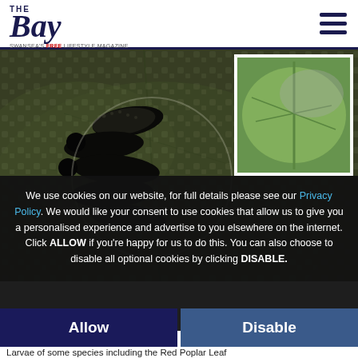The Bay — Swansea's Free Lifestyle Magazine
[Figure (photo): Close-up photograph of black larvae/insects on a leaf, with a white-bordered inset image showing a green leaf detail]
We use cookies on our website, for full details please see our Privacy Policy. We would like your consent to use cookies that allow us to give you a personalised experience and advertise to you elsewhere on the internet. Click ALLOW if you're happy for us to do this. You can also choose to disable all optional cookies by clicking DISABLE.
Allow
Disable
Larvae of some species including the Red Poplar Leaf